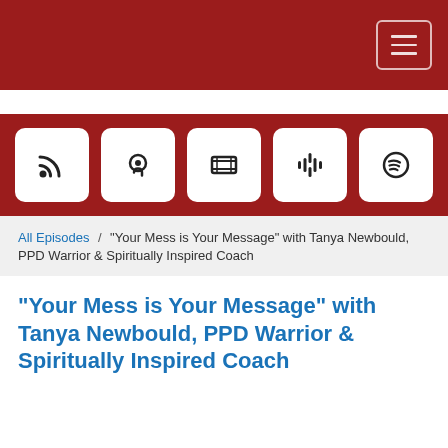Navigation header with hamburger menu
[Figure (screenshot): Red banner with 5 podcast platform icon buttons: RSS feed, Apple Podcasts, Stitcher, Google Podcasts, Spotify]
All Episodes / “Your Mess is Your Message” with Tanya Newbould, PPD Warrior & Spiritually Inspired Coach
“Your Mess is Your Message” with Tanya Newbould, PPD Warrior & Spiritually Inspired Coach